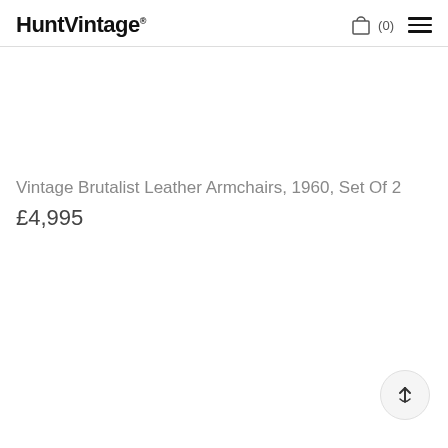HuntVintage®
Vintage Brutalist Leather Armchairs, 1960, Set Of 2
£4,995